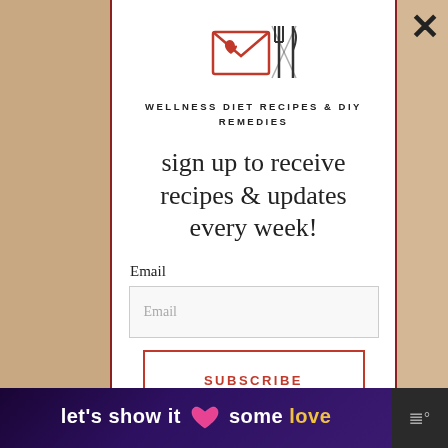[Figure (logo): Email envelope icon with fork and knife crossed, in red/dark style]
WELLNESS DIET RECIPES & DIY REMEDIES
sign up to receive recipes & updates every week!
Email
Email
SUBSCRIBE
You can easily unsubscribe from our mailing list at any
let's show it some love